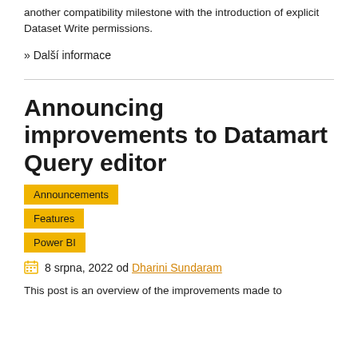another compatibility milestone with the introduction of explicit Dataset Write permissions.
» Další informace
Announcing improvements to Datamart Query editor
Announcements
Features
Power BI
8 srpna, 2022 od Dharini Sundaram
This post is an overview of the improvements made to